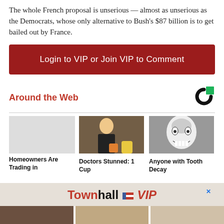The whole French proposal is unserious — almost as unserious as the Democrats, whose only alternative to Bush's $87 billion is to get bailed out by France.
Login to VIP or Join VIP to Comment
Around the Web
[Figure (logo): Taboola logo — black C shape with green square]
Homeowners Are Trading in
[Figure (photo): Woman holding items in a store]
Doctors Stunned: 1 Cup
[Figure (photo): Black and white photo of man with surprised expression]
Anyone with Tooth Decay
[Figure (logo): TownhallVIP advertisement banner with flag icon]
[Figure (photo): Bottom row of three partially visible thumbnail images]